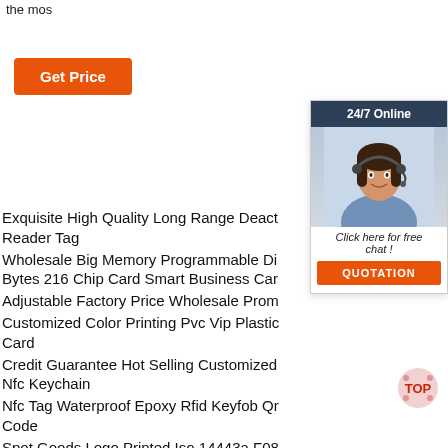the mos
[Figure (other): Orange 'Get Price' button]
[Figure (other): 24/7 Online chat widget with customer service agent photo, 'Click here for free chat!' text, and orange QUOTATION button]
Exquisite High Quality Long Range Deact Reader Tag
Wholesale Big Memory Programmable Di Bytes 216 Chip Card Smart Business Car
Adjustable Factory Price Wholesale Prom
Customized Color Printing Pvc Vip Plastic Card
Credit Guarantee Hot Selling Customized Nfc Keychain
Nfc Tag Waterproof Epoxy Rfid Keyfob Qr Code
Spot Goods Logo Printed Iso 14443a F08 Chip Elastic
Rfid Rope Wristband Access Control System
High Quality Popular Inkjet Pvc Card Rfid Chip